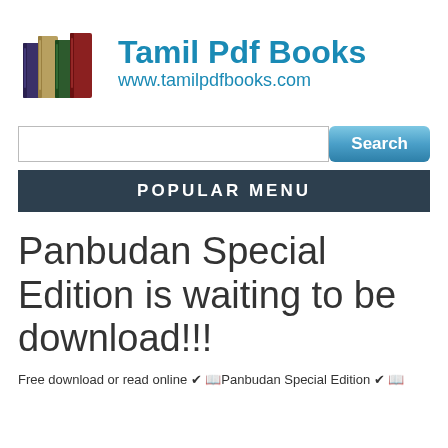[Figure (logo): Tamil PDF Books logo with stacked colorful books icon and brand name 'Tamil Pdf Books' with URL www.tamilpdfbooks.com]
[Figure (screenshot): Search bar with text input and blue Search button]
POPULAR MENU
Panbudan Special Edition is waiting to be download!!!
Free download or read online ✔ 📖Panbudan Special Edition ✔ 📖